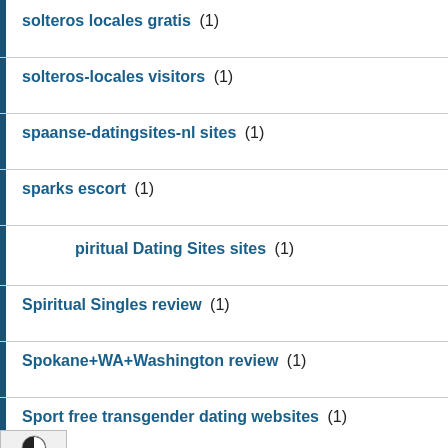solteros locales gratis (1)
solteros-locales visitors (1)
spaanse-datingsites-nl sites (1)
sparks escort (1)
piritual Dating Sites sites (1)
Spiritual Singles review (1)
Spokane+WA+Washington review (1)
Sport free transgender dating websites (1)